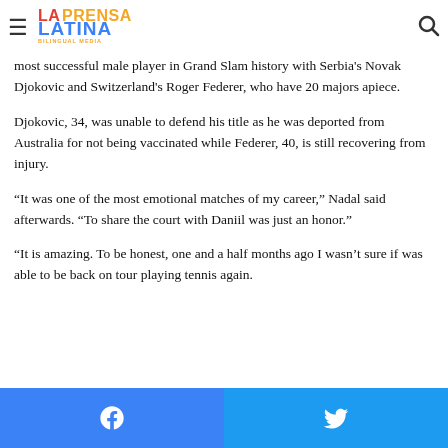La Prensa Latina Bilingual Media
most successful male player in Grand Slam history with Serbia's Novak Djokovic and Switzerland's Roger Federer, who have 20 majors apiece.
Djokovic, 34, was unable to defend his title as he was deported from Australia for not being vaccinated while Federer, 40, is still recovering from injury.
“It was one of the most emotional matches of my career,” Nadal said afterwards. “To share the court with Daniil was just an honor.”
“It is amazing. To be honest, one and a half months ago I wasn’t sure if was able to be back on tour playing tennis again.
Facebook share | Twitter share